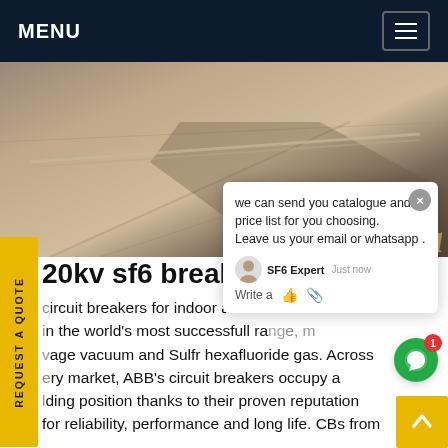MENU
[Figure (photo): Outdoor ground-level photo showing pavement/concrete surface with shadows, and partial text 'ina' visible in bottom right corner in gold/orange italic font.]
20kv sf6 breaker India
circuit breakers for indoor and outdoor applications in the world's most successfull range, using medium voltage vacuum and Sulfr hexafluoride gas. Across every market, ABB's circuit breakers occupy a leading position thanks to their proven reputation for reliability, performance and long life. CBs from ABB are available for original equipment manufacturersGet price